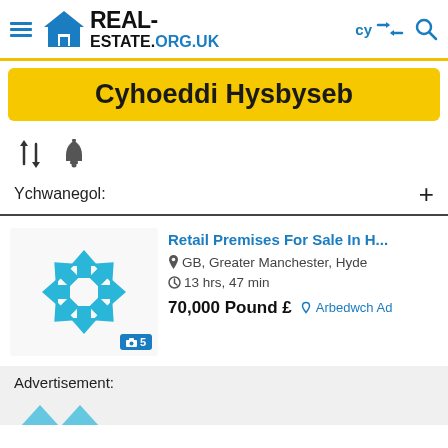[Figure (logo): Real-Estate.org.uk logo with house icon]
Cyhoeddi Hysbyseb
[Figure (infographic): Sort and alert toolbar icons]
Ychwanegol:
Retail Premises For Sale In H...
GB, Greater Manchester, Hyde
13 hrs, 47 min
70,000 Pound £  Arbedwch Ad
Advertisement: